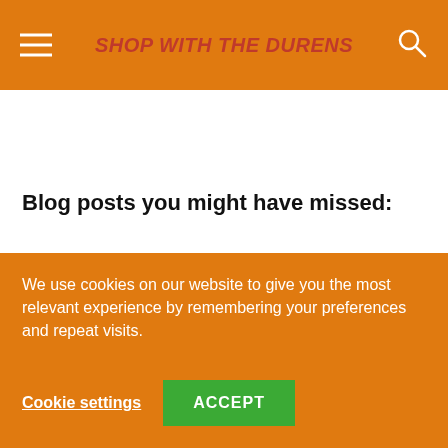SHOP WITH THE DURENS
Blog posts you might have missed:
Clean beauty splurges
Monthly wellness series month five: goal setting
7 Best toddler items at 18 months
We use cookies on our website to give you the most relevant experience by remembering your preferences and repeat visits.
Cookie settings
ACCEPT